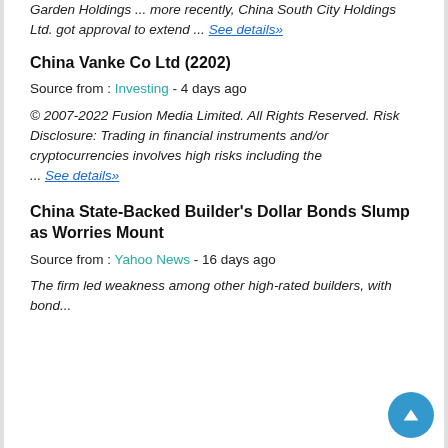Garden Holdings ... more recently, China South City Holdings Ltd. got approval to extend ... See details»
China Vanke Co Ltd (2202)
Source from : Investing - 4 days ago
© 2007-2022 Fusion Media Limited. All Rights Reserved. Risk Disclosure: Trading in financial instruments and/or cryptocurrencies involves high risks including the ... See details»
China State-Backed Builder's Dollar Bonds Slump as Worries Mount
Source from : Yahoo News - 16 days ago
The firm led weakness among other high-rated builders, with bond...